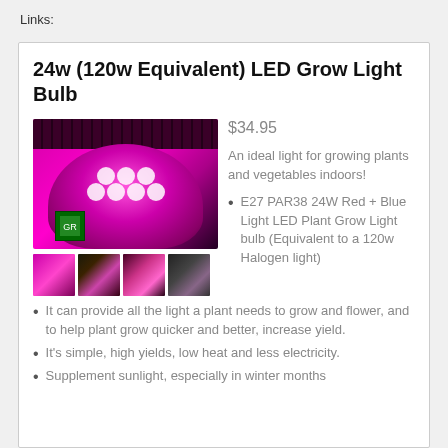Links:
24w (120w Equivalent) LED Grow Light Bulb
[Figure (photo): LED grow light bulb emitting pink/purple light]
$34.95
An ideal light for growing plants and vegetables indoors!
E27 PAR38 24W Red + Blue Light LED Plant Grow Light bulb (Equivalent to a 120w Halogen light)
It can provide all the light a plant needs to grow and flower, and to help plant grow quicker and better, increase yield.
It's simple, high yields, low heat and less electricity.
Supplement sunlight, especially in winter months